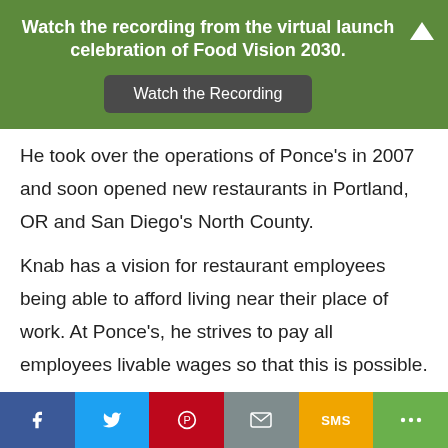Watch the recording from the virtual launch celebration of Food Vision 2030.
He took over the operations of Ponce's in 2007 and soon opened new restaurants in Portland, OR and San Diego's North County.
Knab has a vision for restaurant employees being able to afford living near their place of work. At Ponce's, he strives to pay all employees livable wages so that this is possible. It's a radical concept because restaurant employees, especially back-of-the-house, historically receive extremely low wages. Low staff wages are not
f  [Twitter]  [Pinterest]  [Email]  SMS  [Share]